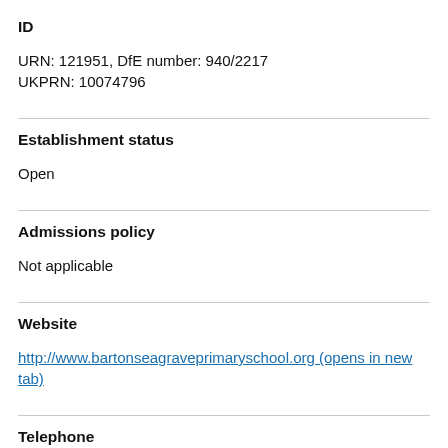ID
URN: 121951, DfE number: 940/2217
UKPRN: 10074796
Establishment status
Open
Admissions policy
Not applicable
Website
http://www.bartonseagraveprimaryschool.org (opens in new tab)
Telephone
01536722793
Ofsted rating